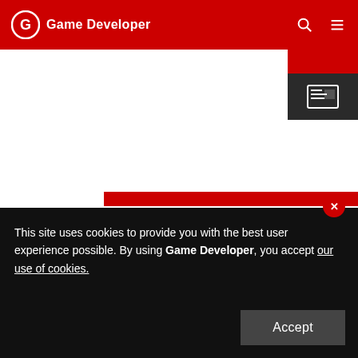Game Developer
[Figure (screenshot): Article thumbnail with red corner accent and newspaper icon on dark background]
Get a job: Sony PlayStation is looking for a VFX Artist
We are looking for a Senior FX Artist to come aboard and help us build the highest quality game FX possible.
December 02, 2019
This site uses cookies to provide you with the best user experience possible. By using Game Developer, you accept our use of cookies.